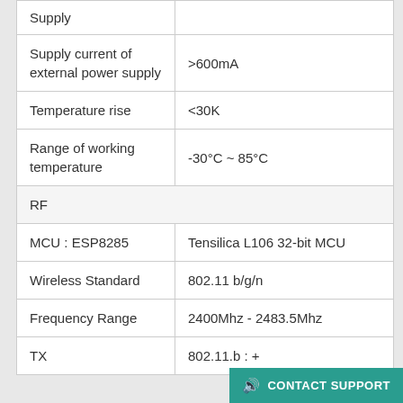| Parameter | Value |
| --- | --- |
| Supply |  |
| Supply current of external power supply | >600mA |
| Temperature rise | <30K |
| Range of working temperature | -30°C ~ 85°C |
| RF |  |
| MCU : ESP8285 | Tensilica L106 32-bit MCU |
| Wireless Standard | 802.11 b/g/n |
| Frequency Range | 2400Mhz - 2483.5Mhz |
| TX | 802.11.b : +… |